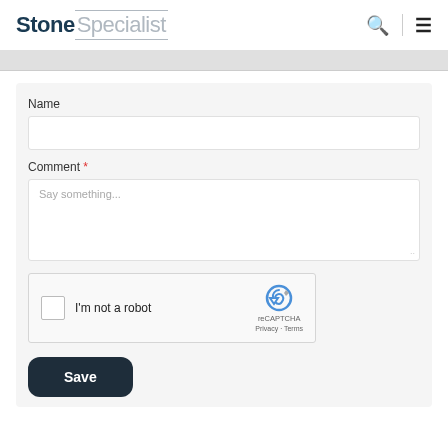StoneSpecialist
Name
Comment *
Say something...
[Figure (other): reCAPTCHA widget with checkbox 'I'm not a robot', reCAPTCHA logo, Privacy and Terms links]
Save